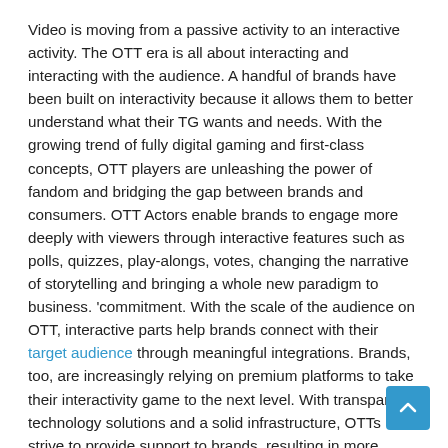Video is moving from a passive activity to an interactive activity. The OTT era is all about interacting and interacting with the audience. A handful of brands have been built on interactivity because it allows them to better understand what their TG wants and needs. With the growing trend of fully digital gaming and first-class concepts, OTT players are unleashing the power of fandom and bridging the gap between brands and consumers. OTT Actors enable brands to engage more deeply with viewers through interactive features such as polls, quizzes, play-alongs, votes, changing the narrative of storytelling and bringing a whole new paradigm to business. 'commitment. With the scale of the audience on OTT, interactive parts help brands connect with their target audience through meaningful integrations. Brands, too, are increasingly relying on premium platforms to take their interactivity game to the next level. With transparent technology solutions and a solid infrastructure, OTTs strive to provide support to brands, resulting in more expense.